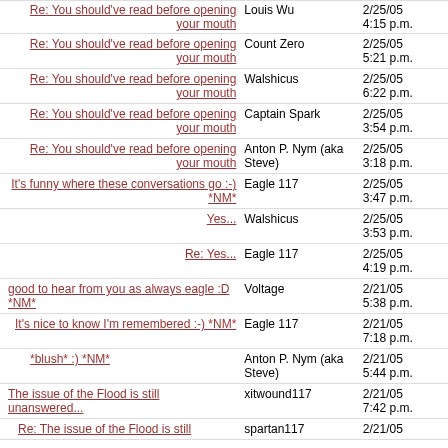| Title | Author | Date |
| --- | --- | --- |
| Re: You should've read before opening your mouth | Louis Wu | 2/25/05
4:15 p.m. |
| Re: You should've read before opening your mouth | Count Zero | 2/25/05
5:21 p.m. |
| Re: You should've read before opening your mouth | Walshicus | 2/25/05
6:22 p.m. |
| Re: You should've read before opening your mouth | Captain Spark | 2/25/05
3:54 p.m. |
| Re: You should've read before opening your mouth | Anton P. Nym (aka Steve) | 2/25/05
3:18 p.m. |
| It's funny where these conversations go :-) *NM* | Eagle 117 | 2/25/05
3:47 p.m. |
| Yes... | Walshicus | 2/25/05
3:53 p.m. |
| Re: Yes... | Eagle 117 | 2/25/05
4:19 p.m. |
| good to hear from you as always eagle :D *NM* | Voltage | 2/21/05
5:38 p.m. |
| It's nice to know I'm remembered :-) *NM* | Eagle 117 | 2/21/05
7:18 p.m. |
| *blush* :) *NM* | Anton P. Nym (aka Steve) | 2/21/05
5:44 p.m. |
| The issue of the Flood is still unanswered... | xitwound117 | 2/21/05
7:42 p.m. |
| Re: The issue of the Flood is still | spartan117 | 2/21/05 |